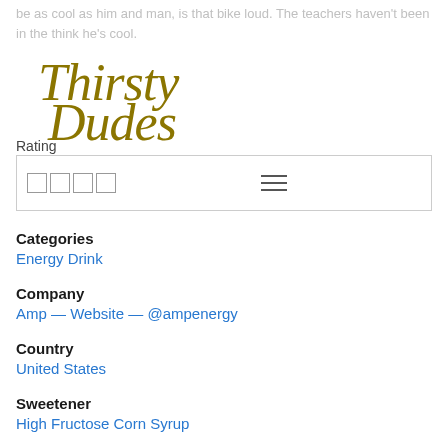be as cool as him and man, is that bike loud. The teachers haven't been in the think he's cool.
[Figure (logo): Thirsty Dudes cursive logo in dark gold/olive color]
Rating
[Figure (other): Navigation bar with four empty star/checkbox squares and a hamburger menu icon]
Categories
Energy Drink
Company
Amp — Website — @ampenergy
Country
United States
Sweetener
High Fructose Corn Syrup
Author
Mike Literman on 7/12/12, 2:43 PM